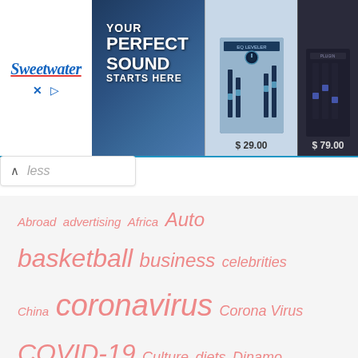[Figure (screenshot): Sweetwater advertisement banner with 'YOUR PERFECT SOUND STARTS HERE' text, product images showing audio equipment priced at $29.00 and $79.00]
less
Abroad advertising Africa Auto basketball business celebrities China coronavirus Corona Virus COVID-19 Culture diets Dinamo economy eurobasket Football government Health ice Hockey Indonesia